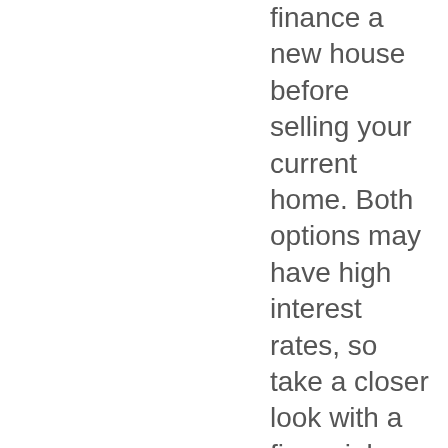finance a new house before selling your current home. Both options may have high interest rates, so take a closer look with a financial advisor before going these routes.
Sell your house to VIP Keyz: A Cash Home Buyer like VIP Keyz can purchase your old home in as little as 7 days without all the hassle and headache of the open market. Just provide some details about the property, and if it's eligible, Opendoor will make a cash offer to buy the house outright — no